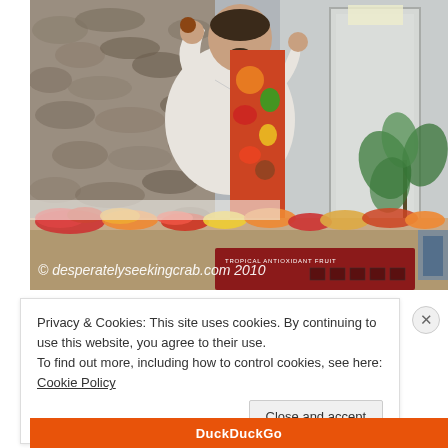[Figure (photo): A man in a white shirt stands behind a table displaying tropical fruits, holding up a fruit in one hand. The background shows a stone wall on the left, a door on the right, and a potted plant. A red sign on the table references 'Tropical' fruits. A watermark reads '© desperatelyseekingcrab.com 2010'.]
Privacy & Cookies: This site uses cookies. By continuing to use this website, you agree to their use.
To find out more, including how to control cookies, see here: Cookie Policy
Close and accept
DuckDuckGo